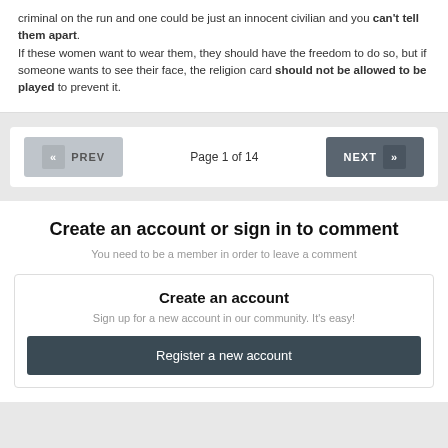criminal on the run and one could be just an innocent civilian and you can't tell them apart.
If these women want to wear them, they should have the freedom to do so, but if someone wants to see their face, the religion card should not be allowed to be played to prevent it.
Page 1 of 14
Create an account or sign in to comment
You need to be a member in order to leave a comment
Create an account
Sign up for a new account in our community. It's easy!
Register a new account